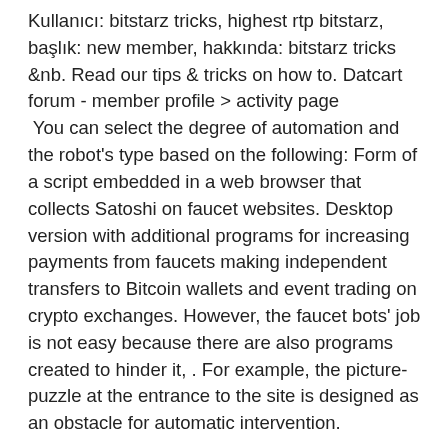Kullanıcı: bitstarz tricks, highest rtp bitstarz, başlık: new member, hakkında: bitstarz tricks &amp;nb. Read our tips &amp; tricks on how to. Datcart forum - member profile &gt; activity page
 You can select the degree of automation and the robot's type based on the following: Form of a script embedded in a web browser that collects Satoshi on faucet websites. Desktop version with additional programs for increasing payments from faucets making independent transfers to Bitcoin wallets and event trading on crypto exchanges. However, the faucet bots' job is not easy because there are also programs created to hinder it, . For example, the picture-puzzle at the entrance to the site is designed as an obstacle for automatic intervention.
Bitstarz casino login